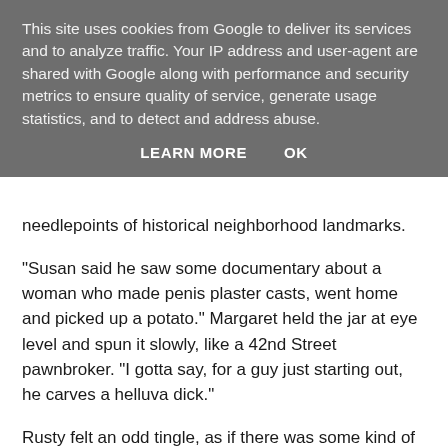This site uses cookies from Google to deliver its services and to analyze traffic. Your IP address and user-agent are shared with Google along with performance and security metrics to ensure quality of service, generate usage statistics, and to detect and address abuse.
LEARN MORE    OK
needlepoints of historical neighborhood landmarks.
"Susan said he saw some documentary about a woman who made penis plaster casts, went home and picked up a potato." Margaret held the jar at eye level and spun it slowly, like a 42nd Street pawnbroker. "I gotta say, for a guy just starting out, he carves a helluva dick."
Rusty felt an odd tingle, as if there was some kind of crotch voodoo at work. He put his nose to the glass. "He even made the veins the right shade of purple."
Margaret's eye looked three times its actual size as she